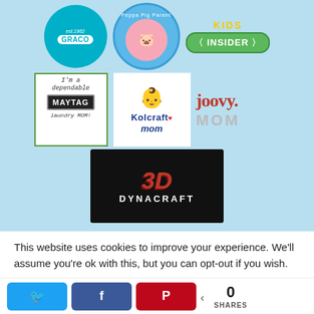[Figure (logo): Graco circle logo, teal/cyan background, est.1942, GRACO text in white pill]
[Figure (logo): Peppa Pig Parent badge, circular blue badge]
[Figure (logo): KIDS INSIDER badge, yellow KIDS text, green INSIDER rounded badge]
[Figure (logo): I'm a dependable MAYTAG laundry MOM! badge with green border]
[Figure (logo): Kolcraft mom logo with baby image and blue text]
[Figure (logo): joovy MOM logo in red and gray]
[Figure (logo): 3D Dynacraft logo on dark background]
This website uses cookies to improve your experience. We'll assume you're ok with this, but you can opt-out if you wish.
[Figure (infographic): Social share buttons: Twitter (blue), Facebook (blue), Pinterest (red), share count showing 0 SHARES]